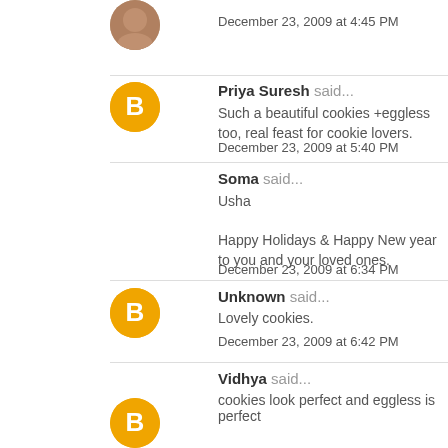December 23, 2009 at 4:45 PM
Priya Suresh said... Such a beautiful cookies +eggless too, real feast for cookie lovers. December 23, 2009 at 5:40 PM
Soma said... Usha Happy Holidays & Happy New year to you and your loved ones. December 23, 2009 at 6:34 PM
Unknown said... Lovely cookies. December 23, 2009 at 6:42 PM
Vidhya said... cookies look perfect and eggless is perfect